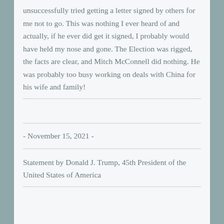unsuccessfully tried getting a letter signed by others for me not to go. This was nothing I ever heard of and actually, if he ever did get it signed, I probably would have held my nose and gone. The Election was rigged, the facts are clear, and Mitch McConnell did nothing. He was probably too busy working on deals with China for his wife and family!
- November 15, 2021 -
Statement by Donald J. Trump, 45th President of the United States of America